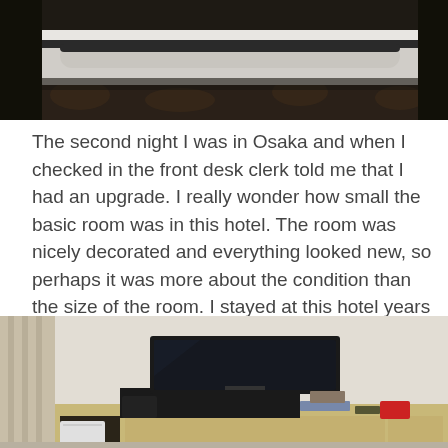[Figure (photo): Close-up photo of a hotel bed with white and black striped pillows/bolster against dark patterned carpet background]
The second night I was in Osaka and when I checked in the front desk clerk told me that I had an upgrade. I really wonder how small the basic room was in this hotel. The room was nicely decorated and everything looked new, so perhaps it was more about the condition than the size of the room. I stayed at this hotel years ago and it was not this nice then.
[Figure (photo): Hotel room desk area with a flat-screen TV on a light wood desk, black equipment underneath, white curtain on left, items on desk surface]